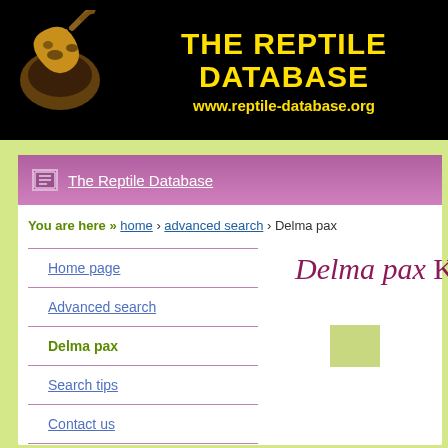THE REPTILE DATABASE
www.reptile-database.org
The Reptile Database
You are here » home › advanced search › Delma pax
Home page
Advanced search
Delma pax
Search tips
Contact us
Global Reptile BioBlitz
reptile-database.org
Delma pax KLUGE,
[Figure (other): Small olive/tan colored square placeholder image]